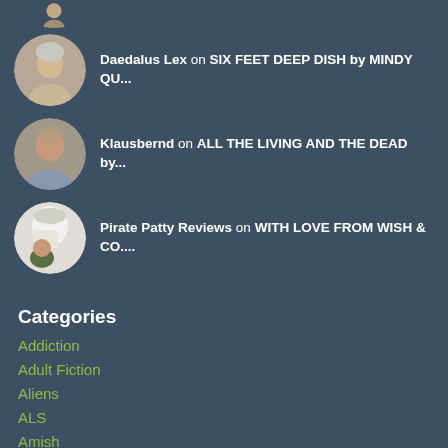[Figure (photo): Partial avatar of a person at the top of the page (cropped)]
Daedalus Lex on SIX FEET DEEP DISH by MINDY QU...
Klausbernd on ALL THE LIVING AND THE DEAD by...
Pirate Patty Reviews on WITH LOVE FROM WISH & CO....
Categories
Addiction
Adult Fiction
Aliens
ALS
Amish
Animals
ART